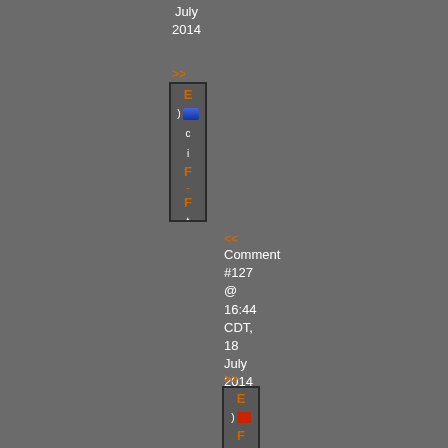July 2014
[Figure (screenshot): Vertical navigation box with orange letters and white text, blue icon, on dark background]
<< Comment #127 @ 16:44 CDT, 18 July 2014
>>
[Figure (screenshot): Second vertical navigation box with orange letters and white text, red icon, on dark background]